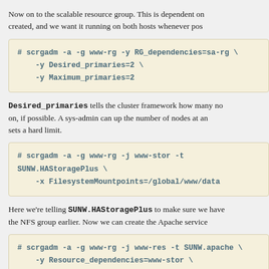Now on to the scalable resource group. This is dependent on created, and we want it running on both hosts whenever pos
# scrgadm -a -g www-rg -y RG_dependencies=sa-rg \
    -y Desired_primaries=2 \
    -y Maximum_primaries=2
Desired_primaries tells the cluster framework how many no on, if possible. A sys-admin can up the number of nodes at an sets a hard limit.
# scrgadm -a -g www-rg -j www-stor -t SUNW.HAStoragePlus \
    -x FilesystemMountpoints=/global/www/data
Here we're telling SUNW.HAStoragePlus to make sure we have the NFS group earlier. Now we can create the Apache service
# scrgadm -a -g www-rg -j www-res -t SUNW.apache \
    -y Resource_dependencies=www-stor \